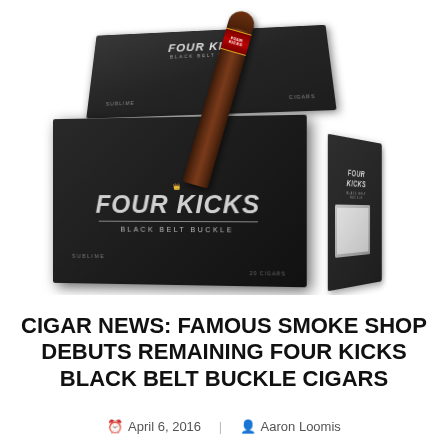[Figure (photo): A dark wooden cigar box labeled 'Four Kicks Black Belt Buckle Sublime' with a single cigar resting diagonally across the top of the box. The box has silver metallic text and branding. Multiple angles of the box are visible.]
CIGAR NEWS: FAMOUS SMOKE SHOP DEBUTS REMAINING FOUR KICKS BLACK BELT BUCKLE CIGARS
April 6, 2016   Aaron Loomis